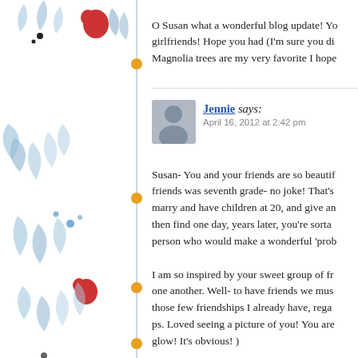O Susan what a wonderful blog update! Yo... girlfriends! Hope you had (I'm sure you di... Magnolia trees are my very favorite I hope...
Jennie says:
April 16, 2012 at 2:42 pm
Susan- You and your friends are so beautif... friends was seventh grade- no joke! That's... marry and have children at 20, and give an... then find one day, years later, you're sorta... person who would make a wonderful 'prob...
I am so inspired by your sweet group of fr... one another. Well- to have friends we mus... those few friendships I already have, rega... ps. Loved seeing a picture of you! You are... glow! It's obvious! )